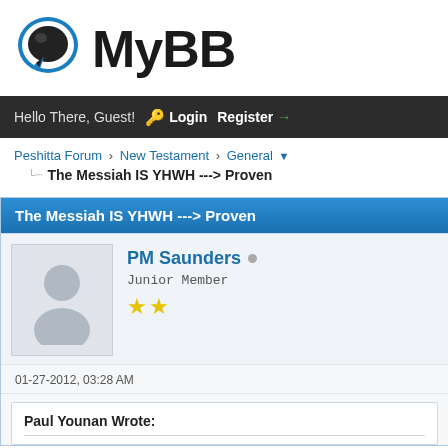[Figure (logo): MyBB forum software logo with blue speech bubble icon and bold MyBB text]
Hello There, Guest! Login Register
Peshitta Forum › New Testament › General
The Messiah IS YHWH ---> Proven
The Messiah IS YHWH ---> Proven
PM Saunders
Junior Member
★★
01-27-2012, 03:28 AM
Paul Younan Wrote: